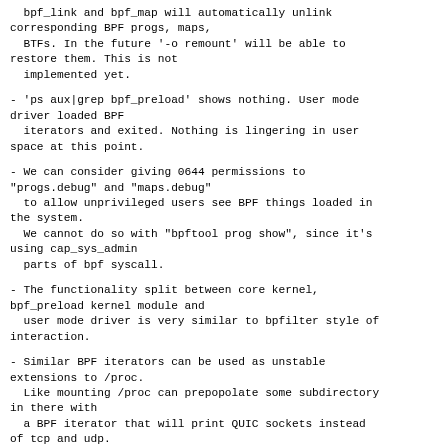bpf_link and bpf_map will automatically unlink corresponding BPF progs, maps,
  BTFs. In the future '-o remount' will be able to restore them. This is not
  implemented yet.
- 'ps aux|grep bpf_preload' shows nothing. User mode driver loaded BPF
  iterators and exited. Nothing is lingering in user space at this point.
- We can consider giving 0644 permissions to "progs.debug" and "maps.debug"
  to allow unprivileged users see BPF things loaded in the system.
  We cannot do so with "bpftool prog show", since it's using cap_sys_admin
  parts of bpf syscall.
- The functionality split between core kernel, bpf_preload kernel module and
  user mode driver is very similar to bpfilter style of interaction.
- Similar BPF iterators can be used as unstable extensions to /proc.
  Like mounting /proc can prepopolate some subdirectory in there with
  a BPF iterator that will print QUIC sockets instead of tcp and udp.